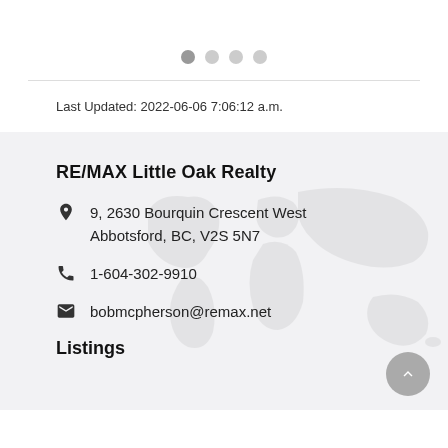[Figure (other): Carousel dots navigation with 4 dots, first one filled/dark]
Last Updated: 2022-06-06 7:06:12 a.m.
RE/MAX Little Oak Realty
9, 2630 Bourquin Crescent West
Abbotsford, BC, V2S 5N7
1-604-302-9910
bobmcpherson@remax.net
Listings